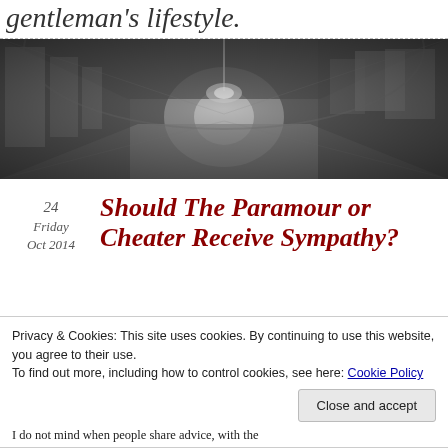gentleman's lifestyle.
[Figure (photo): Black and white photograph of an ornate grand hallway with arched windows, chandelier, and paintings on walls, shot in perspective.]
24
Friday
Oct 2014
Should The Paramour or Cheater Receive Sympathy?
Privacy & Cookies: This site uses cookies. By continuing to use this website, you agree to their use.
To find out more, including how to control cookies, see here: Cookie Policy
Close and accept
I do not mind when people share advice, with the